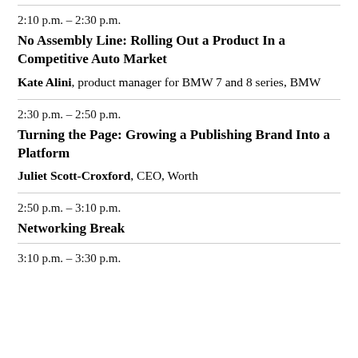2:10 p.m. – 2:30 p.m.
No Assembly Line: Rolling Out a Product In a Competitive Auto Market
Kate Alini, product manager for BMW 7 and 8 series, BMW
2:30 p.m. – 2:50 p.m.
Turning the Page: Growing a Publishing Brand Into a Platform
Juliet Scott-Croxford, CEO, Worth
2:50 p.m. – 3:10 p.m.
Networking Break
3:10 p.m. – 3:30 p.m.